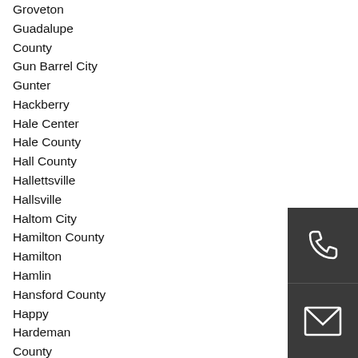Groveton
Guadalupe County
Gun Barrel City
Gunter
Hackberry
Hale Center
Hale County
Hall County
Hallettsville
Hallsville
Haltom City
Hamilton County
Hamilton
Hamlin
Hansford County
Happy
Hardeman County
Leander
Lee County
Lefors
Leon County
Leon Valley
Leonard
Levelland
Lewisville
Lexington
Liberty County
Liberty Hill
Liberty
Limestone County
Lindale
Linden
Lindsay
Lipan
Lipscomb County
[Figure (illustration): Dark grey square icon with a white telephone handset symbol]
[Figure (illustration): Dark grey square icon with a white envelope/mail symbol]